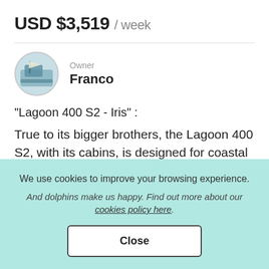USD $3,519 / week
Owner
Franco
"Lagoon 400 S2 - Iris" :
True to its bigger brothers, the Lagoon 400 S2, with its cabins, is designed for coastal cruising or offshore
We use cookies to improve your browsing experience.
And dolphins make us happy. Find out more about our cookies policy here.
Close